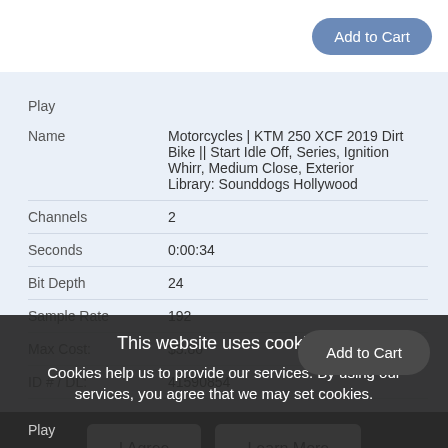| Field | Value |
| --- | --- |
| Play |  |
| Name | Motorcycles | KTM 250 XCF 2019 Dirt Bike || Start Idle Off, Series, Ignition Whirr, Medium Close, Exterior
Library: Sounddogs Hollywood |
| Channels | 2 |
| Seconds | 0:00:34 |
| Bit Depth | 24 |
| Sample Rate | 192 |
| Max Cost: | $3.80 |
| ID # / DL: | 41590854 |
This website uses cookies:
Cookies help us to provide our services. By using our services, you agree that we may set cookies.
I Agree
Learn More
Play